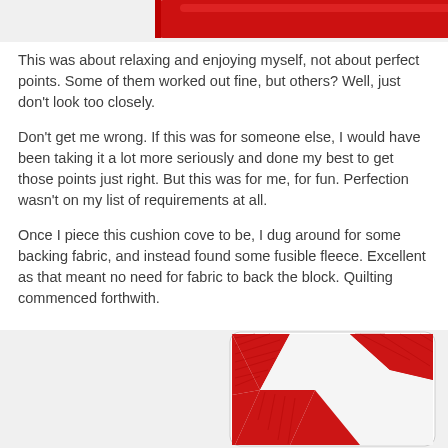[Figure (photo): Top portion of a red quilted cushion cover, partially visible at the top of the page]
This was about relaxing and enjoying myself, not about perfect points. Some of them worked out fine, but others? Well, just don't look too closely.
Don't get me wrong. If this was for someone else, I would have been taking it a lot more seriously and done my best to get those points just right. But this was for me, for fun. Perfection wasn't on my list of requirements at all.
Once I piece this cushion cove to be, I dug around for some backing fabric, and instead found some fusible fleece. Excellent as that meant no need for fabric to back the block. Quilting commenced forthwith.
[Figure (photo): Red and white quilted star/pinwheel block pattern, heavily quilted with parallel lines visible on the red sections, partially shown at the bottom of the page]